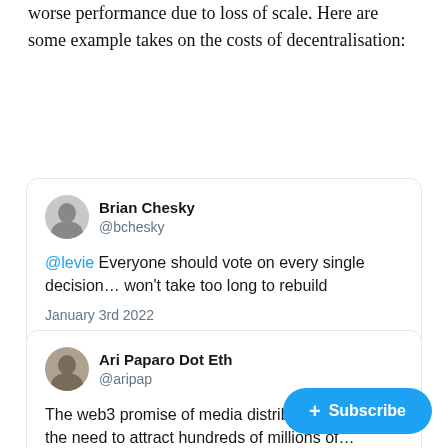worse performance due to loss of scale. Here are some example takes on the costs of decentralisation:
[Figure (screenshot): Tweet by Brian Chesky (@bchesky): '@levie Everyone should vote on every single decision… won't take too long to rebuild' — January 3rd 2022 — 2 Retweets 183 Likes]
[Figure (screenshot): Tweet by Ari Paparo Dot Eth (@aripap): 'The web3 promise of media distribution ignores the need to attract hundreds of millions of…' (partially visible)]